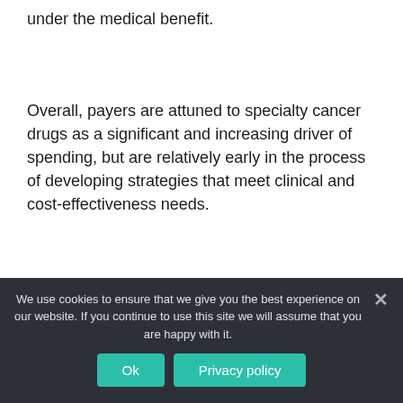under the medical benefit.
Overall, payers are attuned to specialty cancer drugs as a significant and increasing driver of spending, but are relatively early in the process of developing strategies that meet clinical and cost-effectiveness needs.
More intense management
Increased use of all current methods of managing specialty drugs is likely to occur,
We use cookies to ensure that we give you the best experience on our website. If you continue to use this site we will assume that you are happy with it.